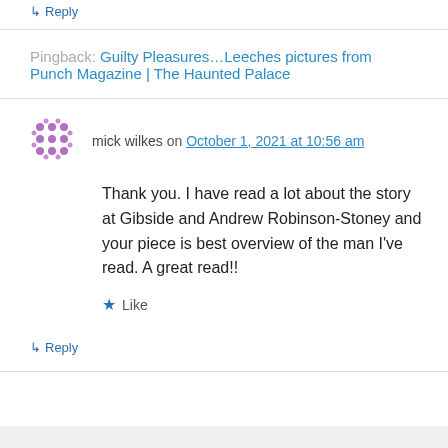↳ Reply
Pingback: Guilty Pleasures…Leeches pictures from Punch Magazine | The Haunted Palace
mick wilkes on October 1, 2021 at 10:56 am
Thank you. I have read a lot about the story at Gibside and Andrew Robinson-Stoney and your piece is best overview of the man I've read. A great read!!
★ Like
↳ Reply